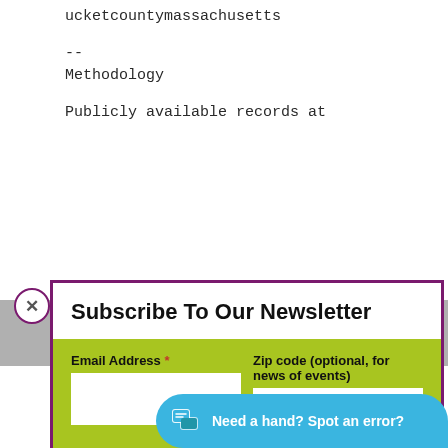ucketcountymassachusetts
--
Methodology

Publicly available records at
Subscribe To Our Newsletter
Email Address *
Zip code (optional, for news of events)
SUBSCRIBE
summary process - DAILY TYPE =
'plaintiff' w...
typically wee...
Need a hand? Spot an error?